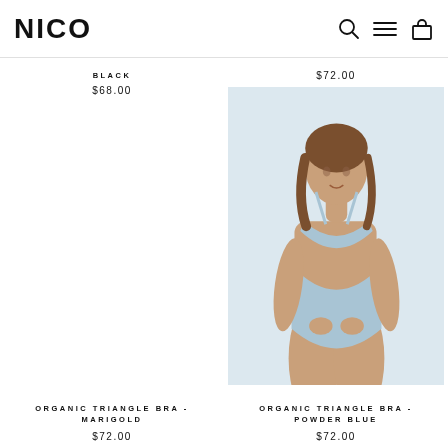NICO
BLACK
$68.00
$72.00
[Figure (photo): Model wearing a light blue bikini set (triangle bra top and high-waist bottoms), posed against a light background.]
ORGANIC TRIANGLE BRA - MARIGOLD
$72.00
ORGANIC TRIANGLE BRA - POWDER BLUE
$72.00